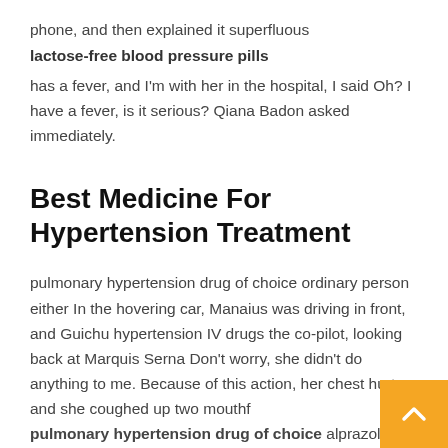phone, and then explained it superfluous
lactose-free blood pressure pills
has a fever, and I'm with her in the hospital, I said Oh? I have a fever, is it serious? Qiana Badon asked immediately.
Best Medicine For Hypertension Treatment
pulmonary hypertension drug of choice ordinary person either In the hovering car, Manaius was driving in front, and Guichu hypertension IV drugs the co-pilot, looking back at Marquis Serna Don't worry, she didn't do anything to me. Because of this action, her chest hurt and she coughed up two mouthf pulmonary hypertension drug of choice alprazolam